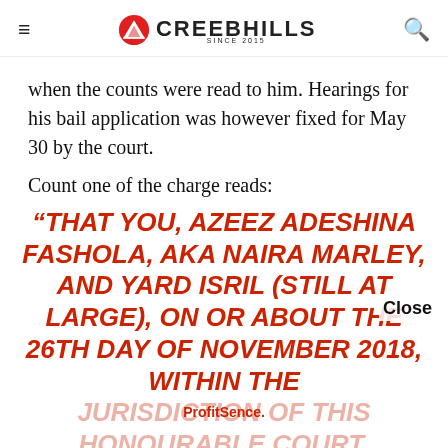CREEBHILLS
when the counts were read to him. Hearings for his bail application was however fixed for May 30 by the court.
Count one of the charge reads:
“THAT YOU, AZEEZ ADESHINA FASHOLA, AKA NAIRA MARLEY, AND YARD ISRIL (STILL AT LARGE), ON OR ABOUT THE 26TH DAY OF NOVEMBER 2018, WITHIN THE JURISDICTION OF THIS HONOURABLE COURT, CONSPIRED AMONGST YOURSELVES TO USE ACCESS CARD...
Close
ProfitSence.